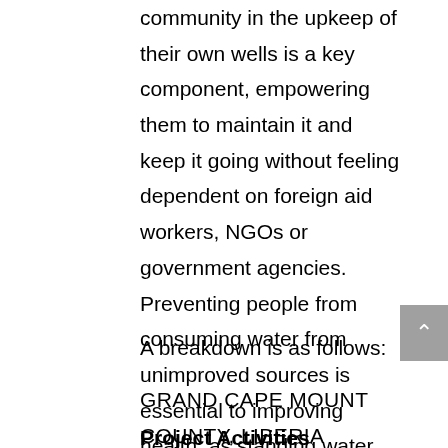community in the upkeep of their own wells is a key component, empowering them to maintain it and keep it going without feeling dependent on foreign aid workers, NGOs or government agencies. Preventing people from consuming water from unimproved sources is essential to improving health, as standing water and pools used for washing are dangerously contaminated.
A breakdown is as follows:
GRAND CAPE MOUNT COUNTY, LIBERIA
Project Activities